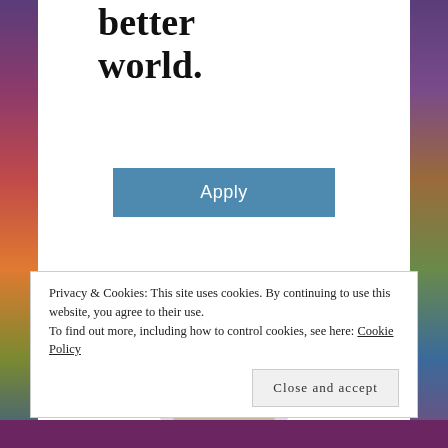better world.
Apply
[Figure (photo): Circular cropped photo of a young Black man wearing glasses and a beige t-shirt, looking upward and smiling, hand raised near chin, against a light grey background.]
Privacy & Cookies: This site uses cookies. By continuing to use this website, you agree to their use.
To find out more, including how to control cookies, see here: Cookie Policy
Close and accept